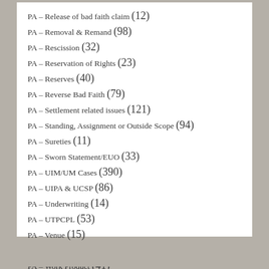PA – Release of bad faith claim (12)
PA – Removal & Remand (98)
PA – Rescission (32)
PA – Reservation of Rights (23)
PA – Reserves (40)
PA – Reverse Bad Faith (79)
PA – Settlement related issues (121)
PA – Standing, Assignment or Outside Scope (94)
PA – Sureties (11)
PA – Sworn Statement/EUO (33)
PA – UIM/UM Cases (390)
PA – UIPA & UCSP (86)
PA – Underwriting (14)
PA – UTPCPL (53)
PA – Venue (15)
PA – Who is an Insurer? (32)
PA – Work Product (41)